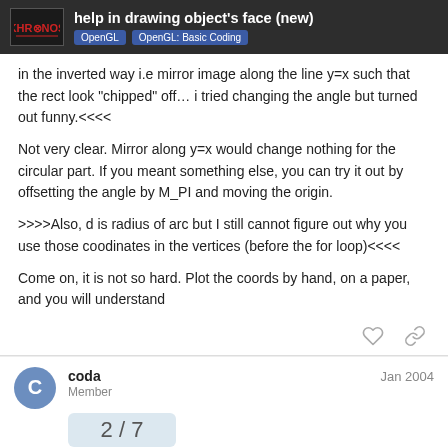help in drawing object's face (new) | OpenGL | OpenGL: Basic Coding
in the inverted way i.e mirror image along the line y=x such that the rect look “chipped” off… i tried changing the angle but turned out funny.<<<<
Not very clear. Mirror along y=x would change nothing for the circular part. If you meant something else, you can try it out by offsetting the angle by M_PI and moving the origin.
>>>>Also, d is radius of arc but I still cannot figure out why you use those coodinates in the vertices (before the for loop)<<<<
Come on, it is not so hard. Plot the coords by hand, on a paper, and you will understand
coda
Member
Jan 2004
2 / 7